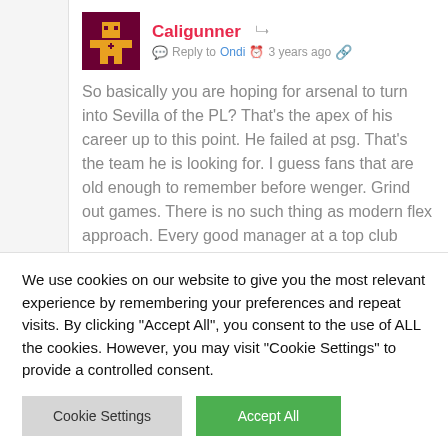Caligunner
Reply to Ondi · 3 years ago
So basically you are hoping for arsenal to turn into Sevilla of the PL? That's the apex of his career up to this point. He failed at psg. That's the team he is looking for. I guess fans that are old enough to remember before wenger. Grind out games. There is no such thing as modern flex approach. Every good manager at a top club have their minds set. They only change
We use cookies on our website to give you the most relevant experience by remembering your preferences and repeat visits. By clicking "Accept All", you consent to the use of ALL the cookies. However, you may visit "Cookie Settings" to provide a controlled consent.
Cookie Settings
Accept All